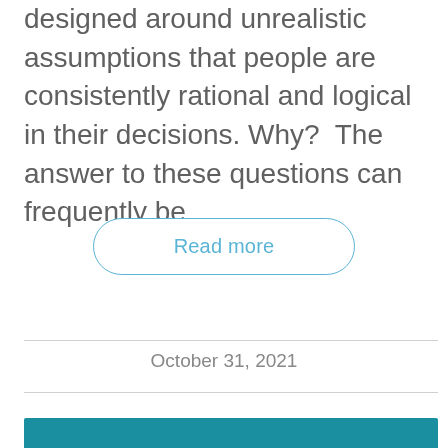designed around unrealistic assumptions that people are consistently rational and logical in their decisions. Why?  The answer to these questions can frequently be...
Read more
October 31, 2021
[Figure (photo): Partial view of a teal/blue colored image at the bottom of the page]